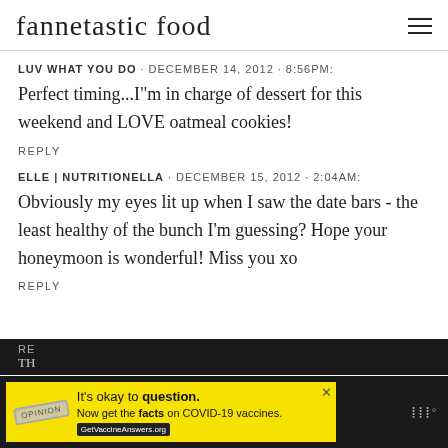fannetastic food
LUV WHAT YOU DO · DECEMBER 14, 2012 · 8:56PM:
Perfect timing...I"m in charge of dessert for this weekend and LOVE oatmeal cookies!
REPLY
ELLE | NUTRITIONELLA · DECEMBER 15, 2012 · 2:04AM:
Obviously my eyes lit up when I saw the date bars - the least healthy of the bunch I'm guessing? Hope your honeymoon is wonderful! Miss you xo
REPLY
[Figure (screenshot): Advertisement banner at bottom: yellow background with COVID-19 vaccine information. Text reads: It's okay to question. Now get the facts on COVID-19 vaccines. GetVaccineAnswers.org. Overlaid on dark footer bar.]